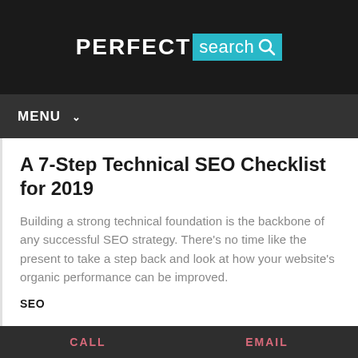[Figure (logo): Perfect Search Media logo: white bold uppercase PERFECT text followed by a cyan/teal box containing 'search' in white lowercase and a magnifying glass icon]
MENU ∨
A 7-Step Technical SEO Checklist for 2019
Building a strong technical foundation is the backbone of any successful SEO strategy. There's no time like the present to take a step back and look at how your website's organic performance can be improved.
SEO
CALL   EMAIL